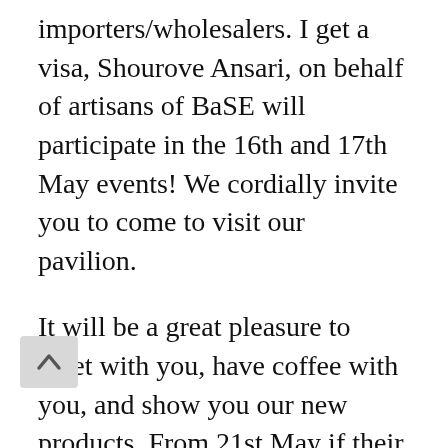importers/wholesalers. I get a visa, Shourove Ansari, on behalf of artisans of BaSE will participate in the 16th and 17th May events! We cordially invite you to come to visit our pavilion.
It will be a great pleasure to meet with you, have coffee with you, and show you our new products. From 21st May if their requirement I will be available to visit our other European partners!
We are very enthusiastic about this great cooperation of CBI. We very much hope it will help us to introduce our